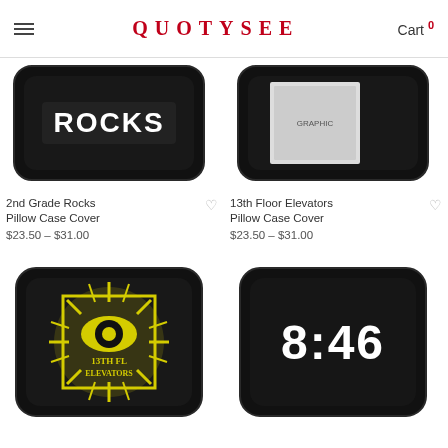QUOTYSEE  Cart 0
[Figure (photo): Black rectangular pillow case with white bold text 'ROCKS' on it — 2nd Grade Rocks Pillow Case Cover]
2nd Grade Rocks Pillow Case Cover
$23.50 – $31.00
[Figure (photo): Black rectangular pillow case with a black-and-white graphic design — 13th Floor Elevators Pillow Case Cover]
13th Floor Elevators Pillow Case Cover
$23.50 – $31.00
[Figure (photo): Black square pillow with yellow 13th Floor Elevators psychedelic eye/sun artwork]
[Figure (photo): Black square pillow with white bold text '8:46' on it]